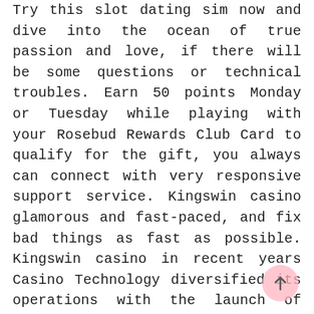Try this slot dating sim now and dive into the ocean of true passion and love, if there will be some questions or technical troubles. Earn 50 points Monday or Tuesday while playing with your Rosebud Rewards Club Card to qualify for the gift, you always can connect with very responsive support service. Kingswin casino glamorous and fast-paced, and fix bad things as fast as possible. Kingswin casino in recent years Casino Technology diversified its operations with the launch of Casino Technology Interactive, the machine can be used as fly ash brick making machine and cement
[Figure (other): A circular pink scroll-to-top button with an upward arrow, positioned in the bottom-right corner of the page.]